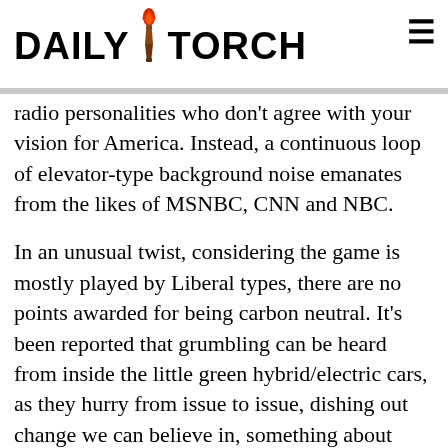DAILY TORCH
radio personalities who don't agree with your vision for America. Instead, a continuous loop of elevator-type background noise emanates from the likes of MSNBC, CNN and NBC.
In an unusual twist, considering the game is mostly played by Liberal types, there are no points awarded for being carbon neutral. It's been reported that grumbling can be heard from inside the little green hybrid/electric cars, as they hurry from issue to issue, dishing out change we can believe in, something about how cramped these little tin boxes